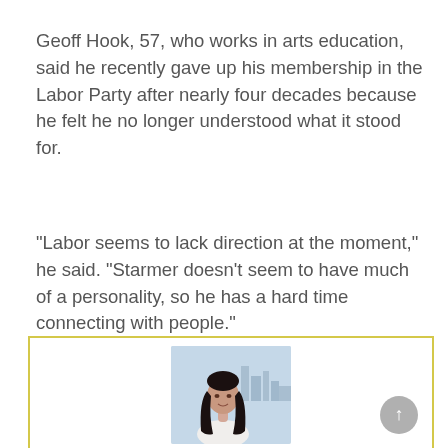Geoff Hook, 57, who works in arts education, said he recently gave up his membership in the Labor Party after nearly four decades because he felt he no longer understood what it stood for.
“Labor seems to lack direction at the moment,” he said. “Starmer doesn’t seem to have much of a personality, so he has a hard time connecting with people.”
[Figure (photo): Photo of a young woman with long dark hair, wearing a white top, with a city skyline visible in the background. The photo is inside a yellow-bordered box.]